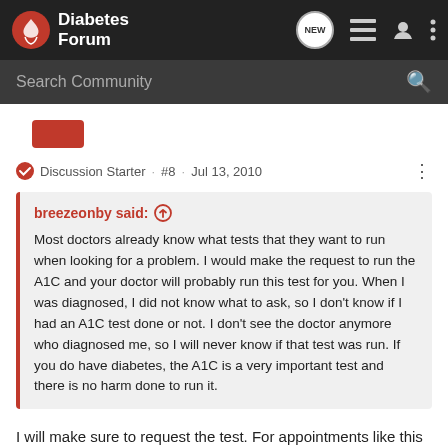[Figure (screenshot): Diabetes Forum navigation bar with logo, NEW chat badge, list icon, user icon, and more options icon]
Search Community
Discussion Starter · #8 · Jul 13, 2010
breezeonby said: ↑
Most doctors already know what tests that they want to run when looking for a problem. I would make the request to run the A1C and your doctor will probably run this test for you. When I was diagnosed, I did not know what to ask, so I don't know if I had an A1C test done or not. I don't see the doctor anymore who diagnosed me, so I will never know if that test was run. If you do have diabetes, the A1C is a very important test and there is no harm done to run it.
I will make sure to request the test. For appointments like this do the doctors usually have the results that day? I know that my doctors office has their own lab but I was just wondering if any